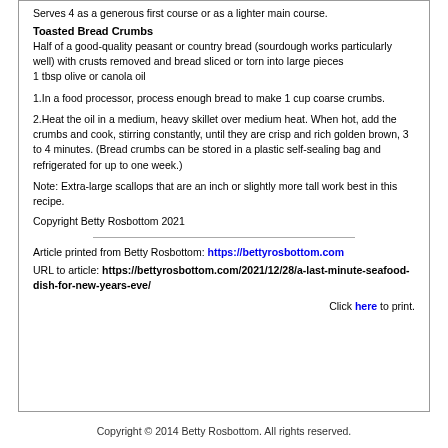Serves 4 as a generous first course or as a lighter main course.
Toasted Bread Crumbs
Half of a good-quality peasant or country bread (sourdough works particularly well) with crusts removed and bread sliced or torn into large pieces
1 tbsp olive or canola oil
1. In a food processor, process enough bread to make 1 cup coarse crumbs.
2. Heat the oil in a medium, heavy skillet over medium heat. When hot, add the crumbs and cook, stirring constantly, until they are crisp and rich golden brown, 3 to 4 minutes. (Bread crumbs can be stored in a plastic self-sealing bag and refrigerated for up to one week.)
Note: Extra-large scallops that are an inch or slightly more tall work best in this recipe.
Copyright Betty Rosbottom 2021
Article printed from Betty Rosbottom: https://bettyrosbottom.com
URL to article: https://bettyrosbottom.com/2021/12/28/a-last-minute-seafood-dish-for-new-years-eve/
Click here to print.
Copyright © 2014 Betty Rosbottom. All rights reserved.